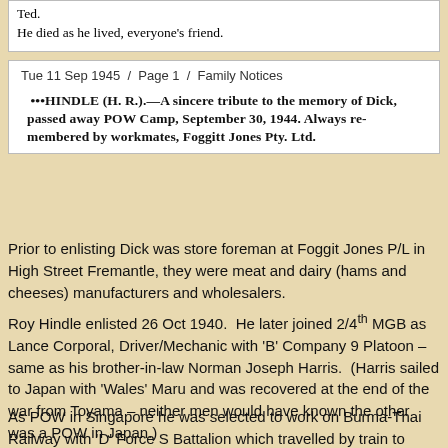Ted.
He died as he lived, everyone's friend.
Tue 11 Sep 1945  /  Page 1  /  Family Notices
[Figure (screenshot): Scanned newspaper notice: HINDLE (H. R.).—A sincere tribute to the memory of Dick, passed away POW Camp, September 30, 1944. Always remembered by workmates, Foggitt Jones Pty. Ltd.]
Prior to enlisting Dick was store foreman at Foggit Jones P/L in High Street Fremantle, they were meat and dairy (hams and cheeses) manufacturers and wholesalers.
Roy Hindle enlisted 26 Oct 1940.  He later joined 2/4th MGB as Lance Corporal, Driver/Mechanic with 'B' Company 9 Platoon – same as his brother-in-law Norman Joseph Harris.  (Harris sailed to Japan with 'Wales' Maru and was recovered at the end of the war from Toyama – neither men would have known the other was a POW in Japan.)
As POW in Singapore he was selected to work on Burma-Thai Railway with 'D' Force S Battalion which travelled by train to Thailand 1943.  S Battalion